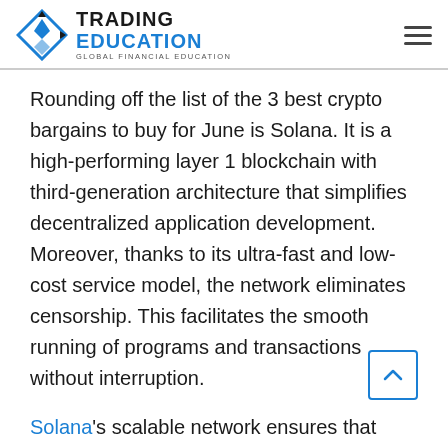TRADING EDUCATION — GLOBAL FINANCIAL EDUCATION
Rounding off the list of the 3 best crypto bargains to buy for June is Solana. It is a high-performing layer 1 blockchain with third-generation architecture that simplifies decentralized application development. Moreover, thanks to its ultra-fast and low-cost service model, the network eliminates censorship. This facilitates the smooth running of programs and transactions without interruption.
Solana's scalable network ensures that transaction costs are less than $0.01 for both consumers and developers. With block times of 400 milliseconds…